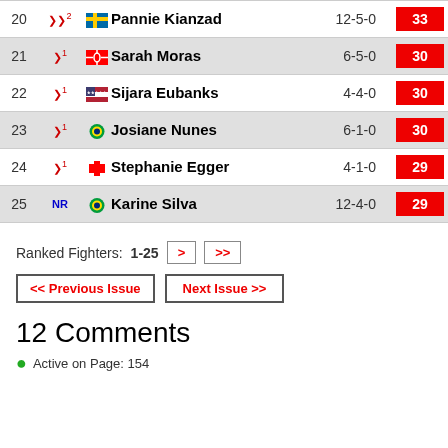| Rank | Move | Fighter | Record | Score |
| --- | --- | --- | --- | --- |
| 20 | ↓2 | 🇸🇪 Pannie Kianzad | 12-5-0 | 33 |
| 21 | ↓1 | 🇨🇦 Sarah Moras | 6-5-0 | 30 |
| 22 | ↓1 | 🇺🇸 Sijara Eubanks | 4-4-0 | 30 |
| 23 | ↓1 | 🇧🇷 Josiane Nunes | 6-1-0 | 30 |
| 24 | ↓1 | 🇨🇭 Stephanie Egger | 4-1-0 | 29 |
| 25 | NR | 🇧🇷 Karine Silva | 12-4-0 | 29 |
Ranked Fighters: 1-25  >  >>
<< Previous Issue   Next Issue >>
12 Comments
Active on Page: 154